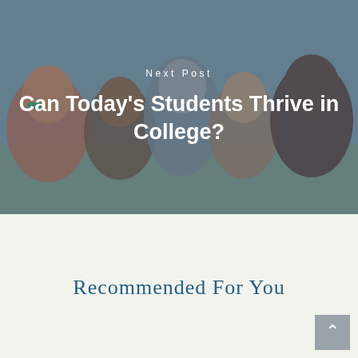[Figure (photo): Group of smiling diverse young people/students huddled together outdoors, with a semi-transparent dark overlay. Text overlay reads 'Next Post' and 'Can Today's Students Thrive in College?']
Next Post
Can Today's Students Thrive in College?
Recommended For You